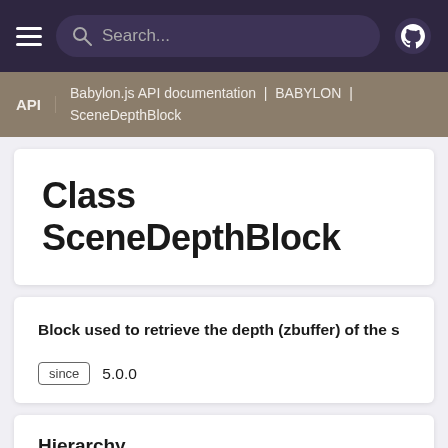Search...
API | Babylon.js API documentation | BABYLON | SceneDepthBlock
Class SceneDepthBlock
Block used to retrieve the depth (zbuffer) of the s
since 5.0.0
Hierarchy